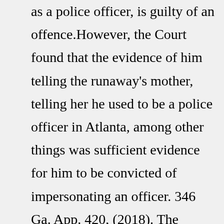as a police officer, is guilty of an offence.However, the Court found that the evidence of him telling the runaway's mother, telling her he used to be a police officer in Atlanta, among other things was sufficient evidence for him to be convicted of impersonating an officer. 346 Ga. App. 420, (2018). The Penalty for Impersonating an Officer in Georgia I have set out below thee Federal criminal statute that prohibits impersonating an officer under certain